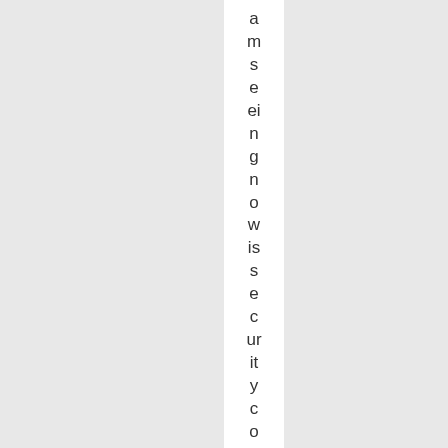amseeingnowise security companies worki